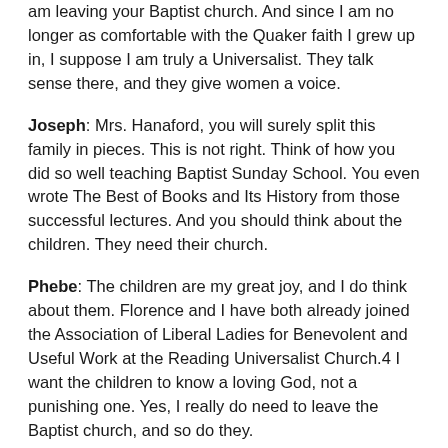am leaving your Baptist church. And since I am no longer as comfortable with the Quaker faith I grew up in, I suppose I am truly a Universalist. They talk sense there, and they give women a voice.
Joseph: Mrs. Hanaford, you will surely split this family in pieces. This is not right. Think of how you did so well teaching Baptist Sunday School. You even wrote The Best of Books and Its History from those successful lectures. And you should think about the children. They need their church.
Phebe: The children are my great joy, and I do think about them. Florence and I have both already joined the Association of Liberal Ladies for Benevolent and Useful Work at the Reading Universalist Church.4 I want the children to know a loving God, not a punishing one. Yes, I really do need to leave the Baptist church, and so do they.
Joseph: We obviously have diverse views on salvation